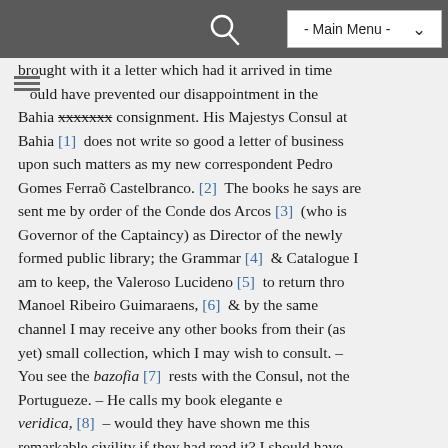- Main Menu -
brought with it a letter which had it arrived in time would have prevented our disappointment in the Bahia xxxxxxx consignment. His Majestys Consul at Bahia [1] does not write so good a letter of business upon such matters as my new correspondent Pedro Gomes Ferraõ Castelbranco. [2] The books he says are sent me by order of the Conde dos Arcos [3] (who is Governor of the Captaincy) as Director of the newly formed public library; the Grammar [4] & Catalogue I am to keep, the Valeroso Lucideno [5] to return thro Manoel Ribeiro Guimaraens, [6] & by the same channel I may receive any other books from their (as yet) small collection, which I may wish to consult. – You see the bazofia [7] rests with the Consul, not the Portugueze. – He calls my book elegante e veridica, [8] – would they have shown me this remarkable civility if they had read it? I should have